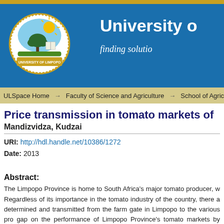[Figure (logo): University of Limpopo header with logo, gold stripe, blue background, university name and tagline 'finding solutions']
ULSpace Home → Faculty of Science and Agriculture → School of Agriculture
Price transmission in tomato markets of...
Mandizvidza, Kudzai
URI: http://hdl.handle.net/10386/1272
Date: 2013
Abstract:
The Limpopo Province is home to South Africa's major tomato producer, w... Regardless of its importance in the tomato industry of the country, there a... determined and transmitted from the farm gate in Limpopo to the various pro... gap on the performance of Limpopo Province's tomato markets by examining... surveys and document analysis, daily tomato prices were collected at three... marketing margin analysis, it was established that the farmers' portion of the...